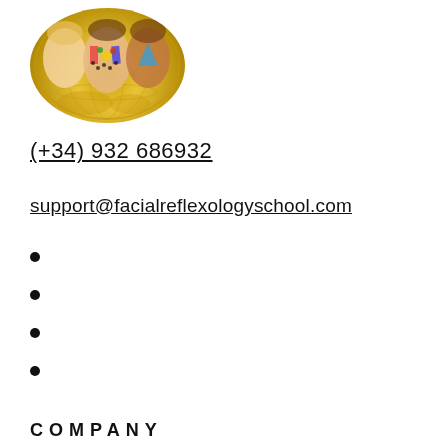[Figure (logo): Circular logo with gold globe outline and three faces with colorful facial reflexology markings overlaid]
(+34) 932 686932
support@facialreflexologyschool.com
COMPANY